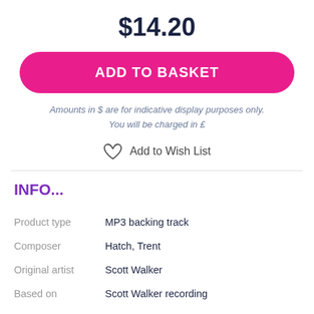$14.20
ADD TO BASKET
Amounts in $ are for indicative display purposes only. You will be charged in £
Add to Wish List
INFO...
|  |  |
| --- | --- |
| Product type | MP3 backing track |
| Composer | Hatch, Trent |
| Original artist | Scott Walker |
| Based on | Scott Walker recording |
| Length | 3:51 |
| Latest version | April 22nd, 2016 |